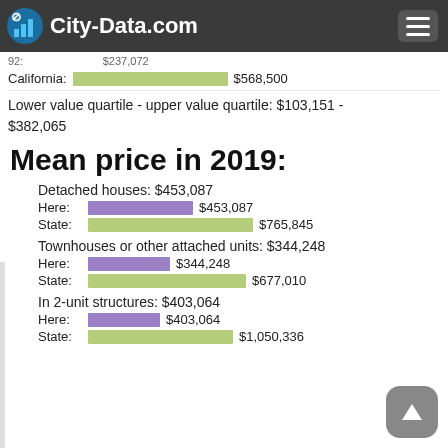City-Data.com
Estimated median house or condo value in 2019: $237,072
California: $568,500
Lower value quartile - upper value quartile: $103,151 - $382,065
Mean price in 2019:
Detached houses: $453,087
Here: $453,087
State: $765,845
Townhouses or other attached units: $344,248
Here: $344,248
State: $677,010
In 2-unit structures: $403,064
Here: $403,064
State: $1,050,336